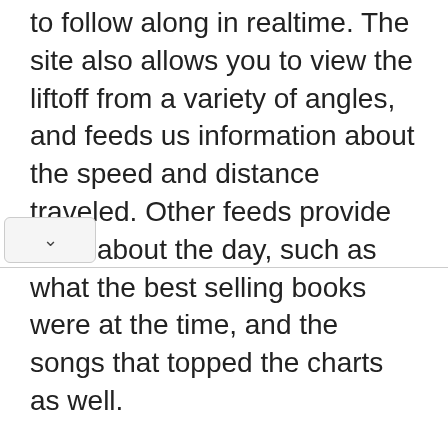to follow along in realtime. The site also allows you to view the liftoff from a variety of angles, and feeds us information about the speed and distance traveled. Other feeds provide trivia about the day, such as what the best selling books were at the time, and the songs that topped the charts as well.